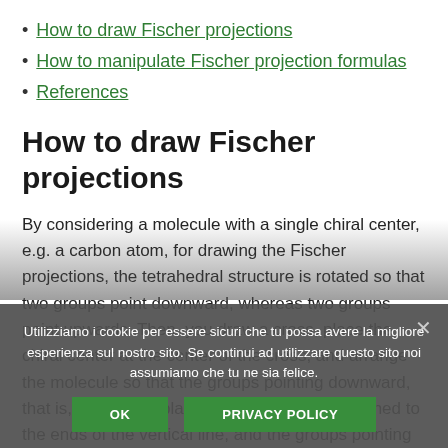How to draw Fischer projections
How to manipulate Fischer projection formulas
References
How to draw Fischer projections
By considering a molecule with a single chiral center, e.g. a carbon atom, for drawing the Fischer projections, the tetrahedral structure is rotated so that two groups point downward, whereas two groups point upwards. Then, you draw a cross, place the chiral center at the center of the cross, and arrange the molecule so that the groups pointing downward, that is, behind the plane of the paper, are attached to the ends of the vertical line, and the groups pointing upwards, that is, out front from the plane of the paper, are attached to the ends of the horizontal line.
Utilizziamo i cookie per essere sicuri che tu possa avere la migliore esperienza sul nostro sito. Se continui ad utilizzare questo sito noi assumiamo che tu ne sia felice.